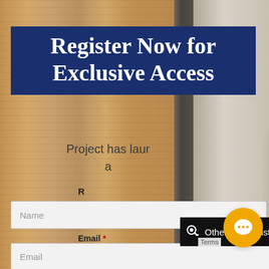Register Now for Exclusive Access
Project has lau… a…
R…
Name
Email ★
Email
[Figure (screenshot): Chat popup with avatar, close button (×), and message: Hi, Have any questions? I'm happy to help. Please provide me with your name, email address and phone number to get started.]
Other Pre-Construction Condos
[Figure (illustration): Yellow circular chat bubble button at bottom right]
Terms